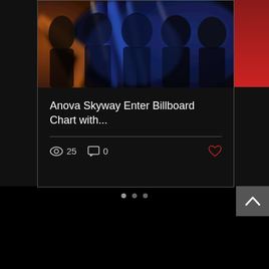[Figure (photo): Dark artistic photo of a band/music group with blue and orange light streaks, motion blur effect, multiple people visible]
Anova Skyway Enter Billboard Chart with...
25 views, 0 comments, heart/like icon